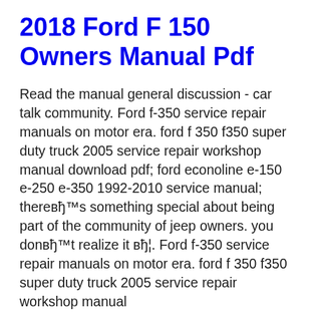2018 Ford F 150 Owners Manual Pdf
Read the manual general discussion - car talk community. Ford f-350 service repair manuals on motor era. ford f 350 f350 super duty truck 2005 service repair workshop manual download pdf; ford econoline e-150 e-250 e-350 1992-2010 service manual; thereвђ™s something special about being part of the community of jeep owners. you donвђ™t realize it вђ¦. Ford f-350 service repair manuals on motor era. ford f 350 f350 super duty truck 2005 service repair workshop manual